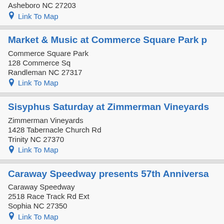Asheboro NC 27203
Link To Map
Market & Music at Commerce Square Park p
Commerce Square Park
128 Commerce Sq
Randleman NC 27317
Link To Map
Sisyphus Saturday at Zimmerman Vineyards
Zimmerman Vineyards
1428 Tabernacle Church Rd
Trinity NC 27370
Link To Map
Caraway Speedway presents 57th Anniversa
Caraway Speedway
2518 Race Track Rd Ext
Sophia NC 27350
Link To Map
Eastern Randolph Farmers Market